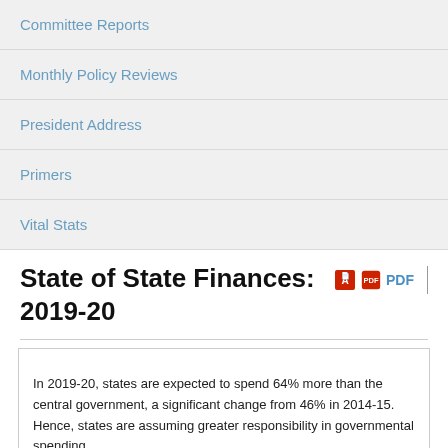Committee Reports
Monthly Policy Reviews
President Address
Primers
Vital Stats
State of State Finances: 2019-20
In 2019-20, states are expected to spend 64% more than the central government, a significant change from 46% in 2014-15.    Hence, states are assuming greater responsibility in governmental spending